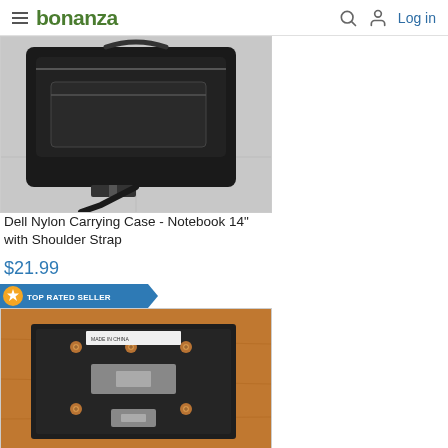bonanza — Log in
[Figure (photo): Black Dell nylon laptop carrying case/bag with shoulder strap on light tiled floor]
Dell Nylon Carrying Case - Notebook 14" with Shoulder Strap
$21.99
TOP RATED SELLER
[Figure (photo): Black metal hardware bracket/mounting plate with copper screws and bolts on wooden surface]